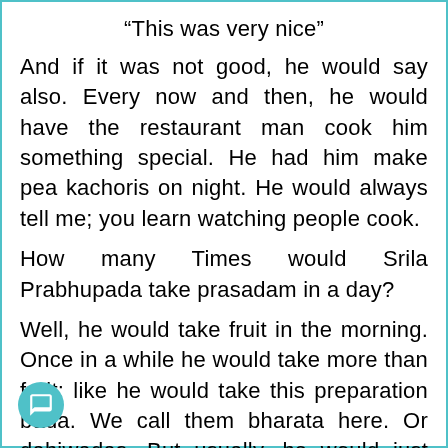“This was very nice”
And if it was not good, he would say also. Every now and then, he would have the restaurant man cook him something special. He had him make pea kachoris on night. He would always tell me; you learn watching people cook.
How many Times would Srila Prabhupada take prasadam in a day?
Well, he would take fruit in the morning. Once in a while he would take more than fruit; like he would take this preparation bada. We call them bharata here. Or dahiwadas. But usually, he would just take fruit in the morning, and some fried cashew nuts, and maybe a little cheese